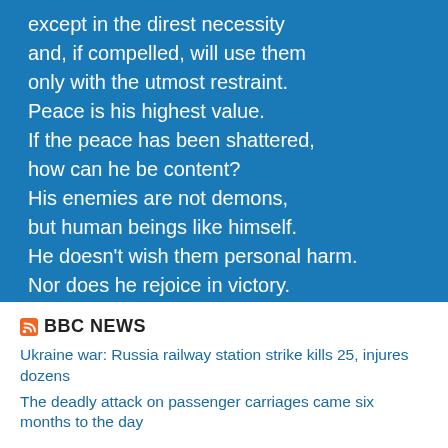except in the direst necessity
and, if compelled, will use them
only with the utmost restraint.
Peace is his highest value.
If the peace has been shattered,
how can he be content?
His enemies are not demons,
but human beings like himself.
He doesn't wish them personal harm.
Nor does he rejoice in victory.
How could he rejoice in victory
and delight in the slaughter of men?

He enters a battle gravely,
with sorrow and with great compassion,
as if he were attending a funeral.
--Tao Te Ching (4th cent. BCE)
[Figure (logo): BBC News RSS feed logo with orange RSS icon and bold BBC NEWS text]
Ukraine war: Russia railway station strike kills 25, injures dozens
The deadly attack on passenger carriages came six months to the day